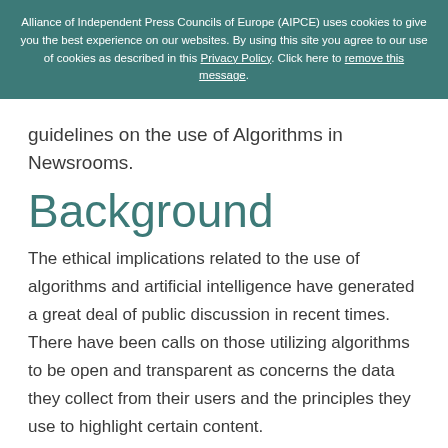Alliance of Independent Press Councils of Europe (AIPCE) uses cookies to give you the best experience on our websites. By using this site you agree to our use of cookies as described in this Privacy Policy. Click here to remove this message.
guidelines on the use of Algorithms in Newsrooms.
Background
The ethical implications related to the use of algorithms and artificial intelligence have generated a great deal of public discussion in recent times. There have been calls on those utilizing algorithms to be open and transparent as concerns the data they collect from their users and the principles they use to highlight certain content.
Media outlets that fall under the regulatory guidelines o